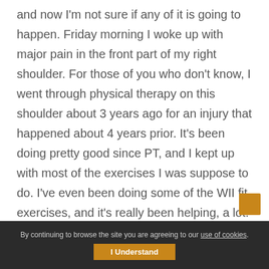and now I'm not sure if any of it is going to happen. Friday morning I woke up with major pain in the front part of my right shoulder. For those of you who don't know, I went through physical therapy on this shoulder about 3 years ago for an injury that happened about 4 years prior. It's been doing pretty good since PT, and I kept up with most of the exercises I was suppose to do. I've even been doing some of the WII fit exercises, and it's really been helping, a lot. I had been feeling better than I had in a long time. But something happened overnight Thursday night, and when I woke up Friday morning, wow, did it hurt. I haven't a clue what
By continuing to browse the site you are agreeing to our use of cookies.
I Understand